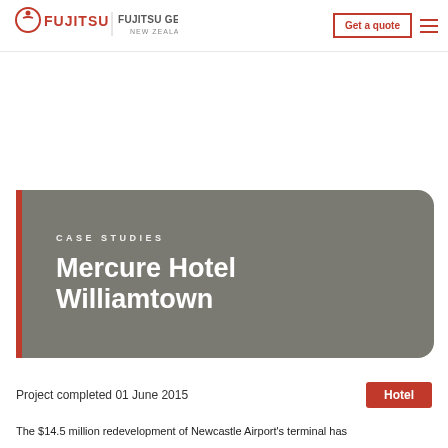[Figure (logo): Fujitsu General New Zealand logo with red Fujitsu wordmark and circle icon, followed by FUJITSU GENERAL NEW ZEALAND text]
[Figure (other): Get a quote button with red border and hamburger menu icon in red]
CASE STUDIES
Mercure Hotel Williamtown
Project completed 01 June 2015
Hotel
The $14.5 million redevelopment of Newcastle Airport's terminal has